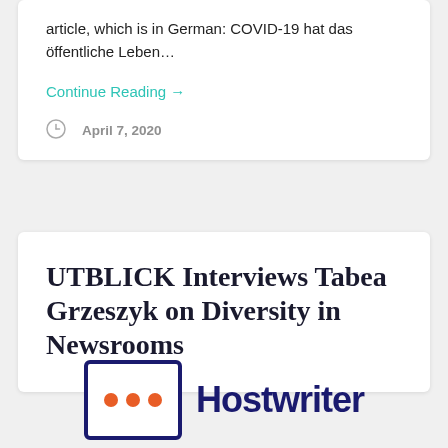article, which is in German: COVID-19 hat das öffentliche Leben…
Continue Reading →
April 7, 2020
UTBLICK Interviews Tabea Grzeszyk on Diversity in Newsrooms
[Figure (logo): Hostwriter logo: dark navy blue square with three orange dots, followed by the word 'Hostwriter' in bold dark navy text]